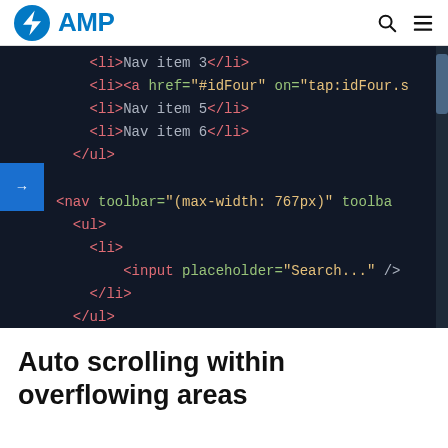AMP
[Figure (screenshot): Dark-themed code editor screenshot showing HTML code with AMP sidebar elements including nav, ul, li, input with placeholder='Search...', and closing tags for amp-sidebar and a div with id='target-element'. A blue sidebar toggle arrow button is visible on the left edge.]
Auto scrolling within overflowing areas